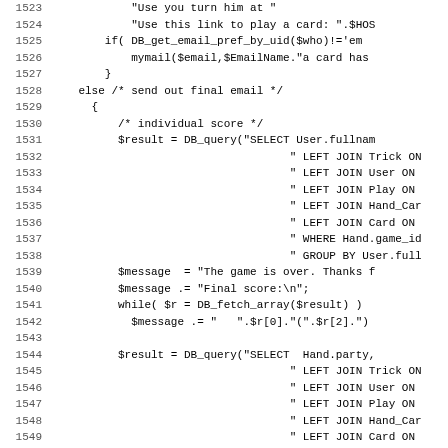[Figure (screenshot): Source code listing showing PHP code lines 1523-1555, featuring database queries for a card game scoring system with SQL LEFT JOINs and email functionality.]